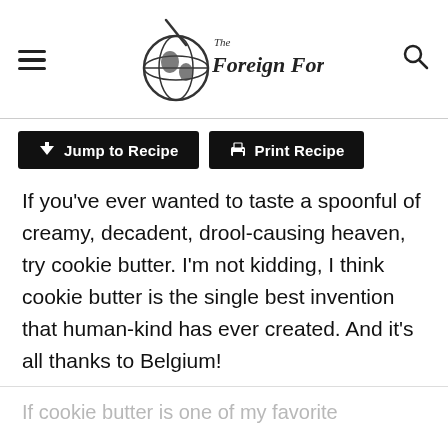The Foreign Fork
[Figure (other): Two black buttons: 'Jump to Recipe' with a down arrow icon and 'Print Recipe' with a printer icon]
If you’ve ever wanted to taste a spoonful of creamy, decadent, drool-causing heaven, try cookie butter. I’m not kidding, I think cookie butter is the single best invention that human-kind has ever created. And it’s all thanks to Belgium!
If cookie butter is one of my favorite